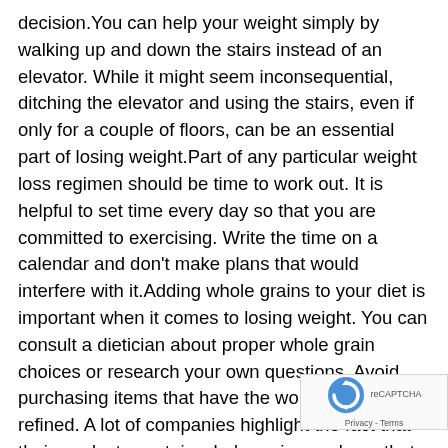decision.You can help your weight simply by walking up and down the stairs instead of an elevator. While it might seem inconsequential, ditching the elevator and using the stairs, even if only for a couple of floors, can be an essential part of losing weight.Part of any particular weight loss regimen should be time to work out. It is helpful to set time every day so that you are committed to exercising. Write the time on a calendar and don't make plans that would interfere with it.Adding whole grains to your diet is important when it comes to losing weight. You can consult a dietician about proper whole grain choices or research your own questions. Avoid purchasing items that have the words enriched or refined. A lot of companies highlight the fact that their products contain whole grains, so keep that in mind and check food labels to verify their claims.If you have hit a plateau in your weight loss, step up your workout intensity. Your body gets used to a certain workout that you are constantly doing and it no longer has the same affect.You can get great weight loss results by making meals at home. Lots of restaurants use excess butter
[Figure (logo): Google reCAPTCHA badge with spinning arrows logo and Privacy - Terms text]